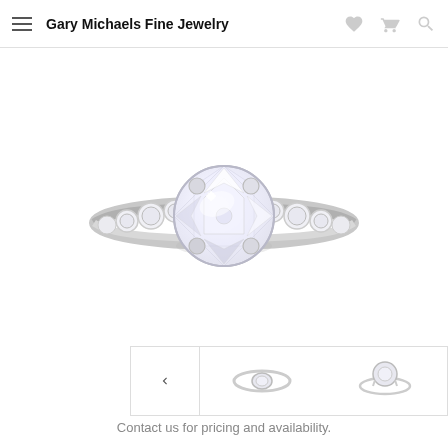Gary Michaels Fine Jewelry
[Figure (photo): Close-up product photo of a diamond engagement ring with a large round brilliant center stone in a four-prong setting, with pavé-set diamonds along the band, on a white background.]
[Figure (photo): Thumbnail image strip showing two smaller views of the ring: one top-down view and one side profile view, with a left-arrow navigation button.]
Contact us for pricing and availability.